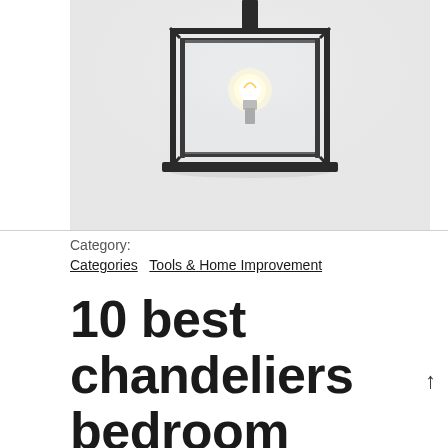[Figure (photo): Black metal box-frame pendant chandelier with a visible Edison bulb, suspended against a light gray/white wall background. The fixture has a rectangular cage-like structure with black metal frame.]
Category:
Categories   Tools & Home Improvement
10 best chandeliers bedroom black for 2022